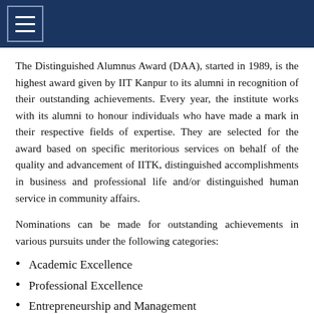The Distinguished Alumnus Award (DAA), started in 1989, is the highest award given by IIT Kanpur to its alumni in recognition of their outstanding achievements. Every year, the institute works with its alumni to honour individuals who have made a mark in their respective fields of expertise. They are selected for the award based on specific meritorious services on behalf of the quality and advancement of IITK, distinguished accomplishments in business and professional life and/or distinguished human service in community affairs.
Nominations can be made for outstanding achievements in various pursuits under the following categories:
Academic Excellence
Professional Excellence
Entrepreneurship and Management